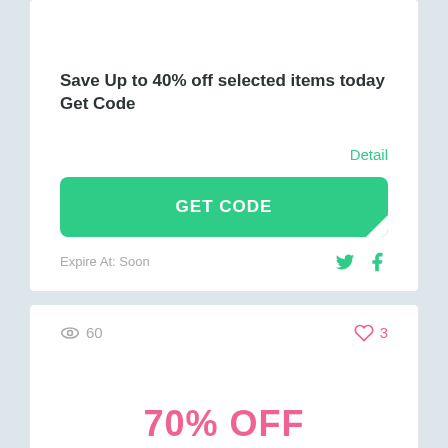Save Up to 40% off selected items today Get Code
Detail
GET CODE
Expire At: Soon
60
3
70% OFF